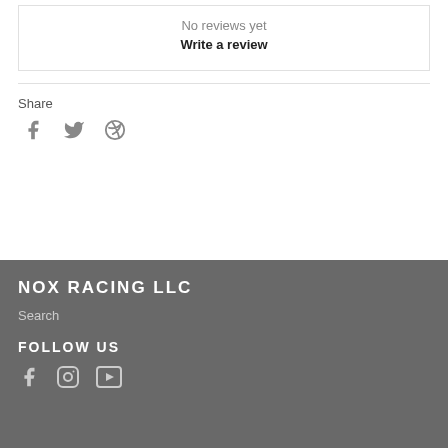No reviews yet
Write a review
Share
[Figure (illustration): Social share icons: Facebook, Twitter, Pinterest]
NOX RACING LLC
Search
FOLLOW US
[Figure (illustration): Social follow icons: Facebook, Instagram, YouTube]